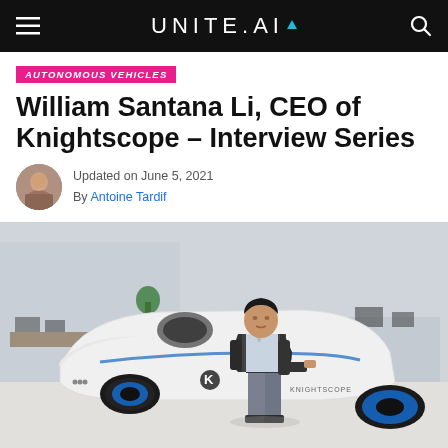UNITE.AI
AUTONOMOUS VEHICLES
William Santana Li, CEO of Knightscope – Interview Series
Updated on June 5, 2021
By Antoine Tardif
[Figure (photo): William Santana Li standing next to a white Knightscope autonomous security robot in an office/lab environment]